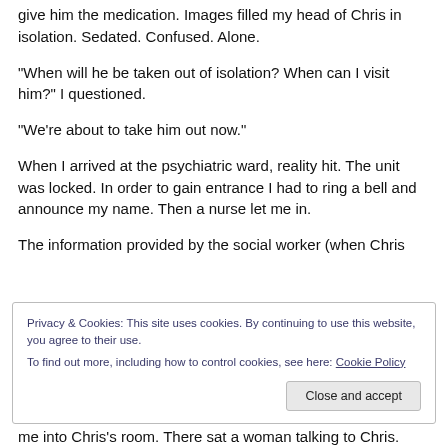give him the medication. Images filled my head of Chris in isolation. Sedated. Confused. Alone.
“When will he be taken out of isolation? When can I visit him?” I questioned.
“We’re about to take him out now.”
When I arrived at the psychiatric ward, reality hit. The unit was locked. In order to gain entrance I had to ring a bell and announce my name. Then a nurse let me in.
The information provided by the social worker (when Chris
[Figure (screenshot): Cookie consent banner with text: 'Privacy & Cookies: This site uses cookies. By continuing to use this website, you agree to their use. To find out more, including how to control cookies, see here: Cookie Policy' and a 'Close and accept' button.]
me into Chris’s room. There sat a woman talking to Chris.